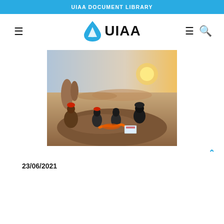UIAA DOCUMENT LIBRARY
[Figure (logo): UIAA logo with hamburger menus and search icon navigation bar]
[Figure (photo): Four people sitting on a large rock in a desert landscape (Wadi Rum style), wearing climbing helmets, with orange rope and climbing gear on the rock, having a discussion or training session at sunset]
23/06/2021